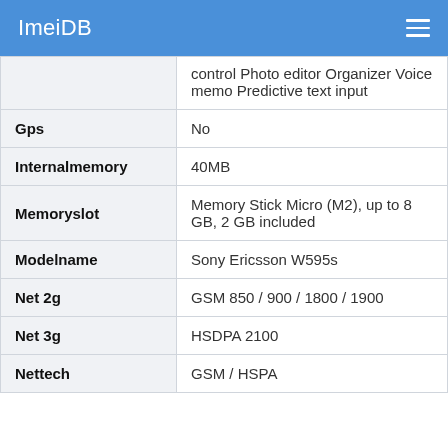ImeiDB
| Property | Value |
| --- | --- |
|  | control Photo editor Organizer Voice memo Predictive text input |
| Gps | No |
| Internalmemory | 40MB |
| Memoryslot | Memory Stick Micro (M2), up to 8 GB, 2 GB included |
| Modelname | Sony Ericsson W595s |
| Net 2g | GSM 850 / 900 / 1800 / 1900 |
| Net 3g | HSDPA 2100 |
| Nettech | GSM / HSPA |